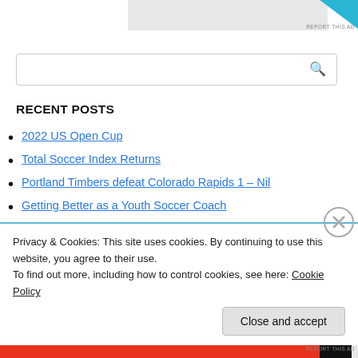[Figure (other): Ad strip at top with cyan triangle and 'REPORT THIS AD' text]
[Figure (other): Search input box with magnifying glass icon]
RECENT POSTS
2022 US Open Cup
Total Soccer Index Returns
Portland Timbers defeat Colorado Rapids 1 – Nil
Getting Better as a Youth Soccer Coach
MLS Playoffs – Predictions with Purpose (Updated)
@Timbersfc look shoddy in defending as they lose 1-4 to @MNUFC
Privacy & Cookies: This site uses cookies. By continuing to use this website, you agree to their use.
To find out more, including how to control cookies, see here: Cookie Policy
Close and accept